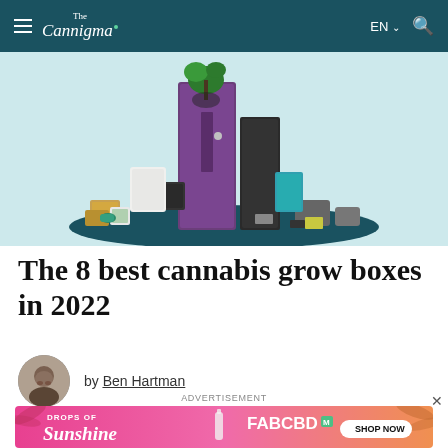The Cannigma — EN
[Figure (photo): Hero image showing cannabis grow box products including a tall purple cabinet grow box, various accessories, a cannabis plant, grow bags, and other related items displayed on a dark teal circular platform against a light blue background.]
The 8 best cannabis grow boxes in 2022
by Ben Hartman
ADVERTISEMENT
[Figure (other): Advertisement banner: DROPS OF Sunshine — FABCBD M — SHOP NOW, pink/orange gradient background with tropical palm leaf imagery and a CBD oil bottle.]